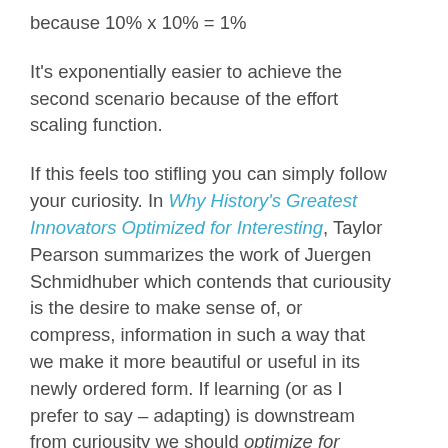because 10% x 10% = 1%
It's exponentially easier to achieve the second scenario because of the effort scaling function.
If this feels too stifling you can simply follow your curiosity. In Why History's Greatest Innovators Optimized for Interesting, Taylor Pearson summarizes the work of Juergen Schmidhuber which contends that curiousity is the desire to make sense of, or compress, information in such a way that we make it more beautiful or useful in its newly ordered form. If learning (or as I prefer to say – adapting) is downstream from curiousity we should optimize for interesting.